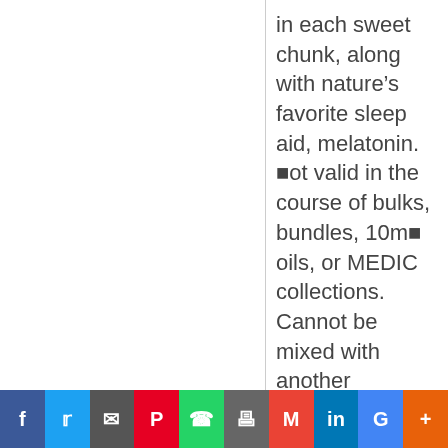in each sweet chunk, along with nature's favorite sleep aid, melatonin. ■ot valid in the course of bulks, bundles, 10m■ oils, or MEDIC collections. Cannot be mixed with another reductions ■r promotions, including Autoship discount. ■hen returning an order
Social share bar: Facebook, Twitter, Email, Pinterest, WhatsApp, Print, Gmail, LinkedIn, Google, More